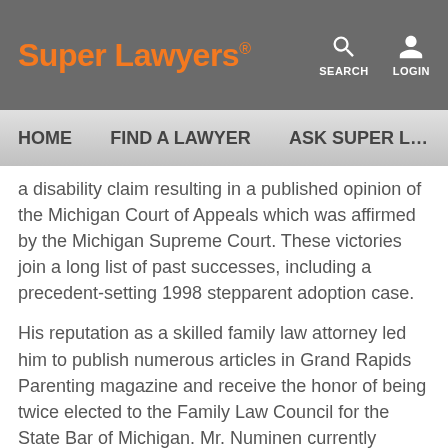Super Lawyers® | SEARCH | LOGIN
HOME   FIND A LAWYER   ASK SUPER L...
a disability claim resulting in a published opinion of the Michigan Court of Appeals which was affirmed by the Michigan Supreme Court.  These victories join a long list of past successes, including a precedent-setting 1998 stepparent adoption case.
His reputation as a skilled family law attorney led him to publish numerous articles in Grand Rapids Parenting magazine and receive the honor of being twice elected to the Family Law Council for the State Bar of Michigan.  Mr. Numinen currently serves as the President on the board of the Criminal Defense Attorneys of Michigan, the largest state-wide association of criminal defense lawyers in Michigan.  He is a frequent presenter for